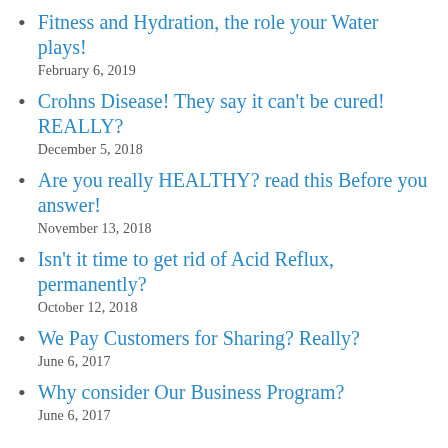Fitness and Hydration, the role your Water plays!
February 6, 2019
Crohns Disease! They say it can't be cured! REALLY?
December 5, 2018
Are you really HEALTHY? read this Before you answer!
November 13, 2018
Isn't it time to get rid of Acid Reflux, permanently?
October 12, 2018
We Pay Customers for Sharing? Really?
June 6, 2017
Why consider Our Business Program?
June 6, 2017